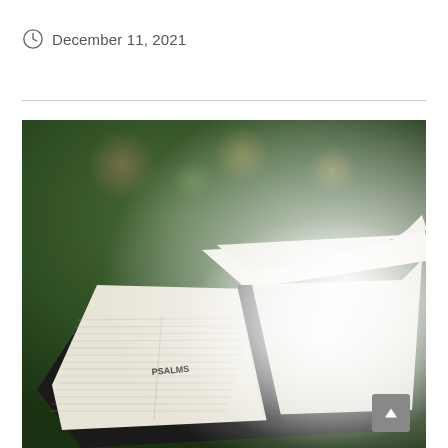December 11, 2021
[Figure (photo): An open Bible showing the Psalms section, lying on a surface outdoors with a blurred green bokeh background. The pages are spread open and slightly curled. The right side of the image fades to white.]